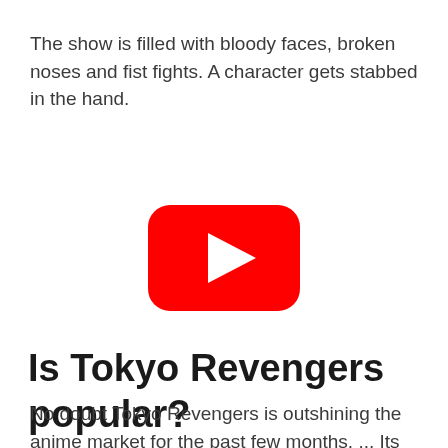The show is filled with bloody faces, broken noses and fist fights. A character gets stabbed in the hand.
[Figure (other): YouTube play button icon — red rounded rectangle with white play triangle in center]
Is Tokyo Revengers popular?
No doubt Tokyo Revengers is outshining the anime market for the past few months. ... Its